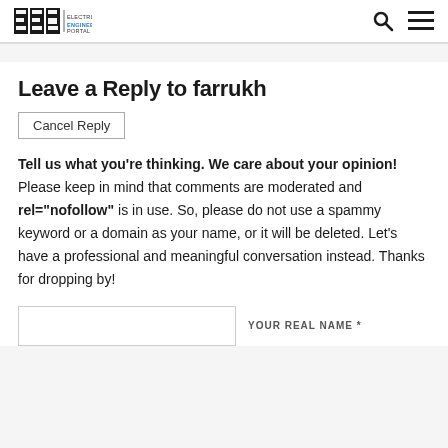EEP | ELECTRICAL ENGINEERING PORTAL
Leave a Reply to farrukh
Cancel Reply
Tell us what you're thinking. We care about your opinion! Please keep in mind that comments are moderated and rel="nofollow" is in use. So, please do not use a spammy keyword or a domain as your name, or it will be deleted. Let's have a professional and meaningful conversation instead. Thanks for dropping by!
YOUR REAL NAME *